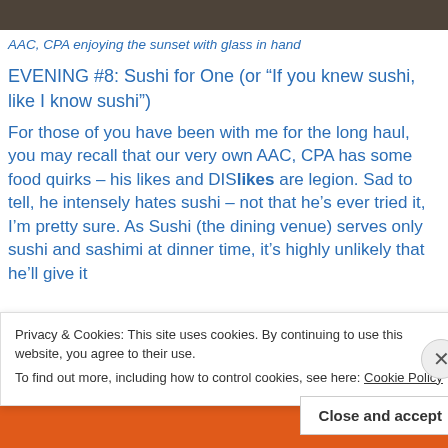[Figure (photo): Top strip of a photo showing a person enjoying the sunset with a glass in hand]
AAC, CPA enjoying the sunset with glass in hand
EVENING #8: Sushi for One (or “If you knew sushi, like I know sushi”)
For those of you have been with me for the long haul, you may recall that our very own AAC, CPA has some food quirks – his likes and DISIikes are legion. Sad to tell, he intensely hates sushi – not that he’s ever tried it, I’m pretty sure. As Sushi (the dining venue) serves only sushi and sashimi at dinner time, it’s highly unlikely that he’ll give it
Privacy & Cookies: This site uses cookies. By continuing to use this website, you agree to their use.
To find out more, including how to control cookies, see here: Cookie Policy
Close and accept